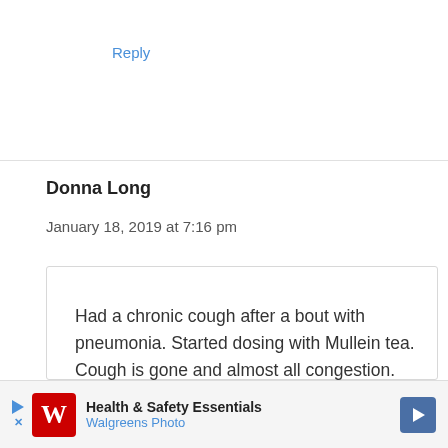Reply
Donna Long
January 18, 2019 at 7:16 pm
Had a chronic cough after a bout with pneumonia. Started dosing with Mullein tea. Cough is gone and almost all congestion. Mullein most definitely works great for cough. BTW, I sometimes got carried away
[Figure (screenshot): Walgreens advertisement banner: Health & Safety Essentials, Walgreens Photo]